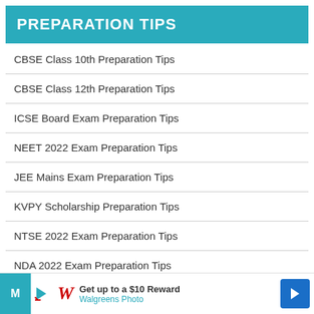PREPARATION TIPS
CBSE Class 10th Preparation Tips
CBSE Class 12th Preparation Tips
ICSE Board Exam Preparation Tips
NEET 2022 Exam Preparation Tips
JEE Mains Exam Preparation Tips
KVPY Scholarship Preparation Tips
NTSE 2022 Exam Preparation Tips
NDA 2022 Exam Preparation Tips
[Figure (screenshot): Advertisement banner for Walgreens Photo: Get up to a $10 Reward, with Walgreens logo and blue arrow icon]